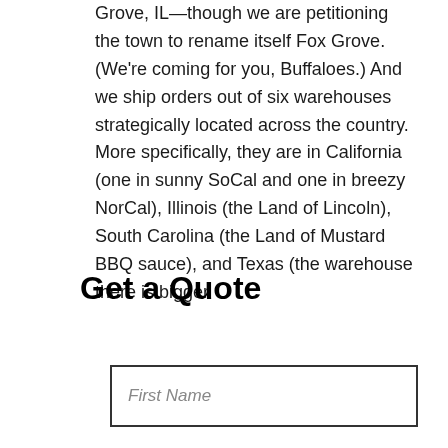Grove, IL—though we are petitioning the town to rename itself Fox Grove. (We're coming for you, Buffaloes.) And we ship orders out of six warehouses strategically located across the country. More specifically, they are in California (one in sunny SoCal and one in breezy NorCal), Illinois (the Land of Lincoln), South Carolina (the Land of Mustard BBQ sauce), and Texas (the warehouse there is bigger
Get a Quote
First Name